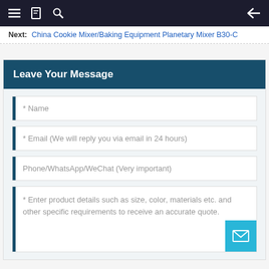Navigation bar with menu, bookmark, search icons and back arrow
Next: China Cookie Mixer/Baking Equipment Planetary Mixer B30-C
Leave Your Message
* Name
* Email (We will reply you via email in 24 hours)
Phone/WhatsApp/WeChat (Very important)
* Enter product details such as size, color, materials etc. and other specific requirements to receive an accurate quote.